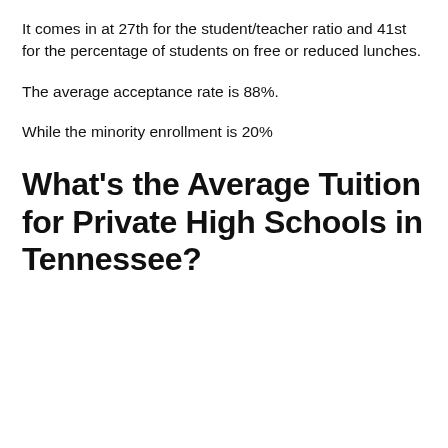It comes in at 27th for the student/teacher ratio and 41st for the percentage of students on free or reduced lunches.
The average acceptance rate is 88%.
While the minority enrollment is 20%
What’s the Average Tuition for Private High Schools in Tennessee?